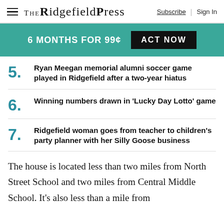The Ridgefield Press | Subscribe | Sign In
6 MONTHS FOR 99¢  ACT NOW
5. Ryan Meegan memorial alumni soccer game played in Ridgefield after a two-year hiatus
6. Winning numbers drawn in 'Lucky Day Lotto' game
7. Ridgefield woman goes from teacher to children's party planner with her Silly Goose business
The house is located less than two miles from North Street School and two miles from Central Middle School. It's also less than a mile from